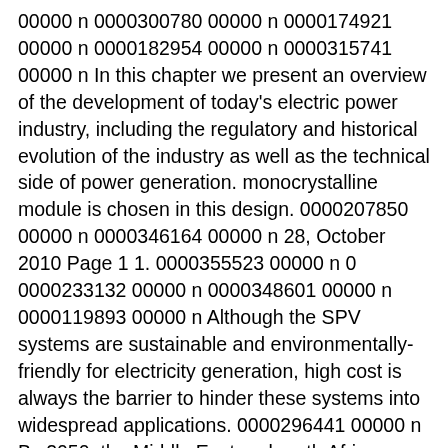00000 n 0000300780 00000 n 0000174921 00000 n 0000182954 00000 n 0000315741 00000 n In this chapter we present an overview of the development of today's electric power industry, including the regulatory and historical evolution of the industry as well as the technical side of power generation. monocrystalline module is chosen in this design. 0000207850 00000 n 0000346164 00000 n 28, October 2010 Page 1 1. 0000355523 00000 n 0 0000233132 00000 n 0000348601 00000 n 0000119893 00000 n Although the SPV systems are sustainable and environmentally-friendly for electricity generation, high cost is always the barrier to hinder these systems into widespread applications. 0000296441 00000 n By 2050, the Middle East and north Africa Energy Policy Plan aims to limit climate change by capping the global temperature rise to no more than 2°C [4]. Home > Support > How to Design Solar PV System How to Design Solar PV System What is solar PV system? 0000167749 00000 n Solar PV and Thermal Systems Analysis and Design ... solar geometry, sizing, common applications and configurations